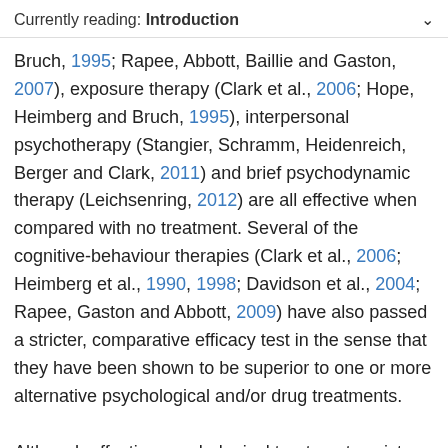Currently reading: Introduction
Bruch, 1995; Rapee, Abbott, Baillie and Gaston, 2007), exposure therapy (Clark et al., 2006; Hope, Heimberg and Bruch, 1995), interpersonal psychotherapy (Stangier, Schramm, Heidenreich, Berger and Clark, 2011) and brief psychodynamic therapy (Leichsenring, 2012) are all effective when compared with no treatment. Several of the cognitive-behaviour therapies (Clark et al., 2006; Heimberg et al., 1990, 1998; Davidson et al., 2004; Rapee, Gaston and Abbott, 2009) have also passed a stricter, comparative efficacy test in the sense that they have been shown to be superior to one or more alternative psychological and/or drug treatments.
Although effective psychological treatments exist, many individuals with social anxiety disorder do not receive them. Poor recognition of social anxiety disorder by